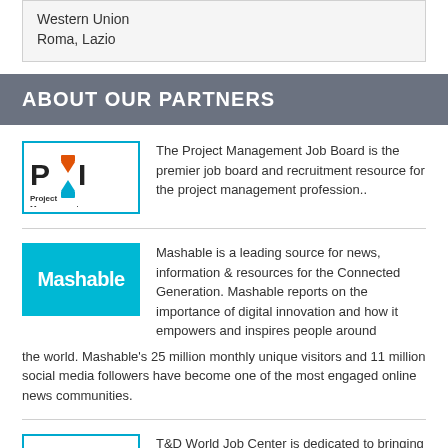Western Union
Roma, Lazio
ABOUT OUR PARTNERS
[Figure (logo): Project Management Institute logo with PMI letters and hourglass icon in a teal border box]
The Project Management Job Board is the premier job board and recruitment resource for the project management profession..
[Figure (logo): Mashable logo — white bold text on cyan/teal background]
Mashable is a leading source for news, information & resources for the Connected Generation. Mashable reports on the importance of digital innovation and how it empowers and inspires people around the world. Mashable's 25 million monthly unique visitors and 11 million social media followers have become one of the most engaged online news communities.
[Figure (logo): T&D World Job Center logo with teal circle icon and bold text in a teal border box]
T&D World Job Center is dedicated to bringing together the Electrical job openings of the nation and the